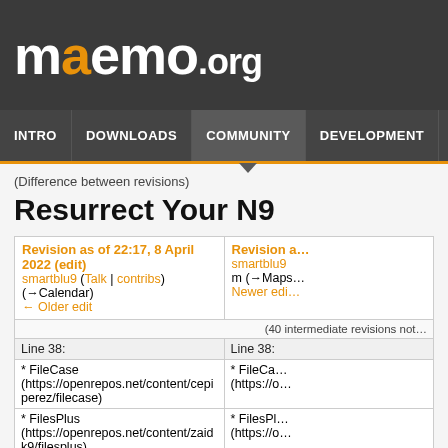[Figure (logo): maemo.org logo in white text on dark gray background]
INTRO | DOWNLOADS | COMMUNITY | DEVELOPMENT | NEWS
(Difference between revisions)
Resurrect Your N9
| Revision as of 22:17, 8 April 2022 (edit) smartblu9 (Talk | contribs) (→Calendar) ← Older edit | Revision a… smartblu9 m (→Maps… Newer edi… |
| --- | --- |
| (40 intermediate revisions not… |  |
| Line 38: | Line 38: |
| * FileCase (https://openrepos.net/content/cepiperez/filecase) | * FileCa… (https://o… |
| * FilesPlus (https://openrepos.net/content/zaidk9/filesplus). | * FilesPl… (https://o… |
| - | + * QAD F… |